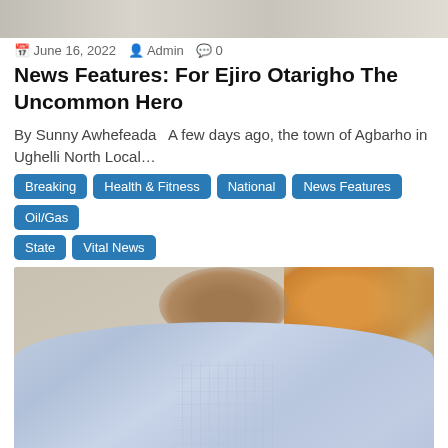[Figure (photo): Top partial image strip showing people at a gathering, cropped at top of page]
📅 June 16, 2022  👤 Admin  💬 0
News Features: For Ejiro Otarigho The Uncommon Hero
By Sunny Awhefeada   A few days ago, the town of Agbarho in Ughelli North Local…
Breaking
Health & Fitness
National
News Features
Oil/Gas
State
Vital News
[Figure (photo): Portrait photo of a man (Ejiro Otarigho) smiling, wearing a light blue traditional agbada garment, with orange flowers and curtain in the background]